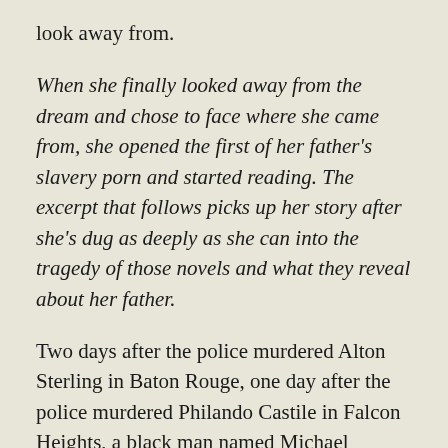look away from.
When she finally looked away from the dream and chose to face where she came from, she opened the first of her father's slavery porn and started reading. The excerpt that follows picks up her story after she's dug as deeply as she can into the tragedy of those novels and what they reveal about her father.
Two days after the police murdered Alton Sterling in Baton Rouge, one day after the police murdered Philando Castile in Falcon Heights, a black man named Michael George Smith, twenty-two years old, was found hanging from a